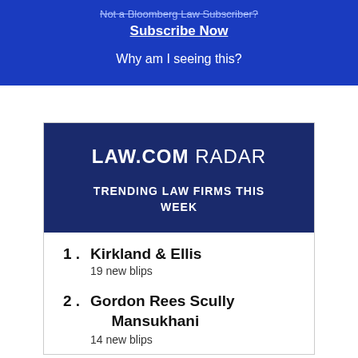Not a Bloomberg Law Subscriber?
Subscribe Now
Why am I seeing this?
LAW.COM RADAR
TRENDING LAW FIRMS THIS WEEK
1. Kirkland & Ellis
19 new blips
2. Gordon Rees Scully Mansukhani
14 new blips